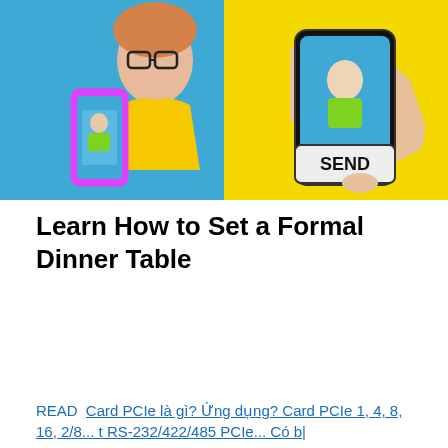[Figure (photo): Two-panel photo: left panel shows a girl with glasses and freckles in a yellow jacket holding a pink-framed phone showing another girl in a green outfit; right panel shows a hand holding a black phone with SEND button overlaying a girl in a green outfit, against a yellow background.]
Learn How to Set a Formal Dinner Table
READ  Card PCIe là gì? Ứng dụng? Card PCIe 1, 4, 8, 16, 2/8... t RS-232/422/485 PCIe... Có b|